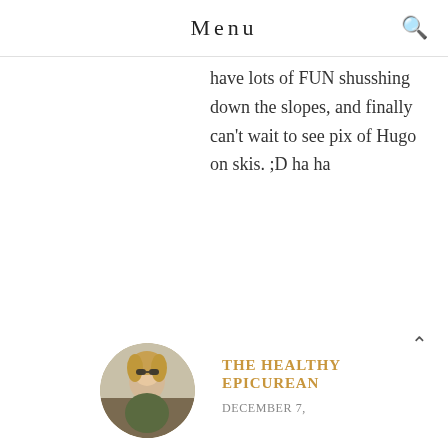Menu
have lots of FUN shusshing down the slopes, and finally can't wait to see pix of Hugo on skis. ;D ha ha
[Figure (photo): Circular avatar photo of a woman with blonde hair and sunglasses, smiling outdoors]
THE HEALTHY EPICUREAN
DECEMBER 7,